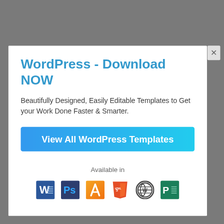WordPress - Download NOW
Beautifully Designed, Easily Editable Templates to Get your Work Done Faster & Smarter.
View All WordPress Templates
Available in
[Figure (logo): Row of format icons: Microsoft Word, Adobe Photoshop, Apple Pages, HTML5, WordPress, Microsoft Publisher]